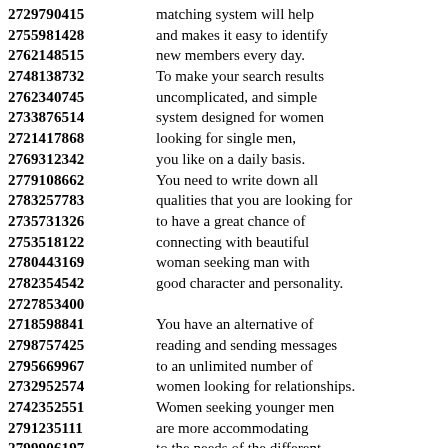2729790415 matching system will help
2755981428 and makes it easy to identify
2762148515 new members every day.
2748138732 To make your search results
2762340745 uncomplicated, and simple
2733876514 system designed for women
2721417868 looking for single men,
2769312342 you like on a daily basis.
2779108662 You need to write down all
2783257783 qualities that you are looking for
2735731326 to have a great chance of
2753518122 connecting with beautiful
2780443169 woman seeking man with
2782354542 good character and personality.
2727853400
2718598841 You have an alternative of
2798757425 reading and sending messages
2795669967 to an unlimited number of
2732952574 women looking for relationships.
2742352551 Women seeking younger men
2791235111 are more accommodating
2799906197 to the needs of the different
2749817578 users on the social media!
2776611449 It is an easy option for those
2711412808 who are already starting to